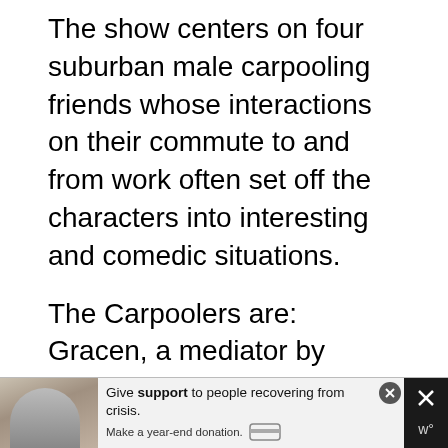The show centers on four suburban male carpooling friends whose interactions on their commute to and from work often set off the characters into interesting and comedic situations.
The Carpoolers are: Gracen, a mediator by profession, an insecurely uptight husband to a sensible real estate agent, and the father of an immature man child who has misdirected ambitions; Aubrey, an extremely stressed-out family man with a dispassionate wife and parade of children; Laird, an egotistical de...
[Figure (infographic): Advertisement banner at the bottom of the page showing a photo of a person on the left, text 'Give support to people recovering from crisis. Make a year-end donation.' with a credit card icon, a close (X) button, and icons on the right side.]